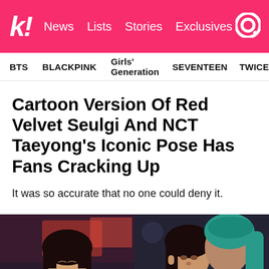k! News Lists Stories Exclusives
BTS BLACKPINK Girls' Generation SEVENTEEN TWICE
Cartoon Version Of Red Velvet Seulgi And NCT Taeyong's Iconic Pose Has Fans Cracking Up
It was so accurate that no one could deny it.
[Figure (photo): Two photos side by side: left shows a young woman with long dark hair laughing with eyes closed against a colorful backdrop; right shows two people close together, one with teal/green hair.]